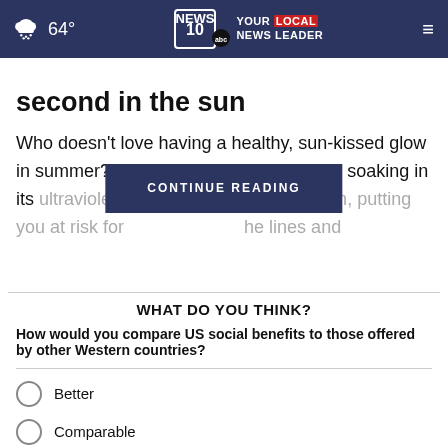NEWS 10 YOUR LOCAL NEWS LEADER | 64°
second in the sun
Who doesn't love having a healthy, sun-kissed glow in summer? But laying out in the sun and soaking in its ultraviolet rays skin, putting you at risk for the lines and
WHAT DO YOU THINK?
How would you compare US social benefits to those offered by other Western countries?
Better
Comparable